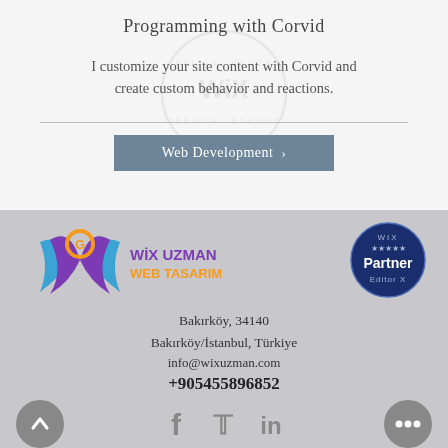Programming with Corvid
I customize your site content with Corvid and create custom behavior and reactions.
[Figure (logo): Wix official expert watermark badge (faint background)]
Web Development ›
[Figure (logo): Wix Uzman Web Tasarım logo with colorful W and G emblem]
[Figure (logo): Wix Partner Editor X dark blue circular badge]
Bakırköy, 34140
Bakırköy/İstanbul, Türkiye
info@wixuzman.com
+905455896852